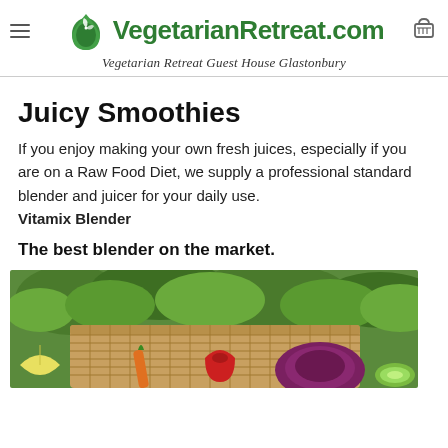VegetarianRetreat.com — Vegetarian Retreat Guest House Glastonbury
Juicy Smoothies
If you enjoy making your own fresh juices, especially if you are on a Raw Food Diet, we supply a professional standard blender and juicer for your daily use. Vitamix Blender
The best blender on the market.
[Figure (photo): Fresh vegetables and herbs in a wicker basket with colourful vegetables in foreground]